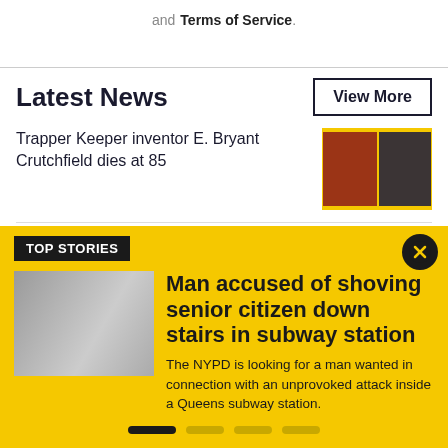and Terms of Service.
Latest News
View More
Trapper Keeper inventor E. Bryant Crutchfield dies at 85
[Figure (photo): Collage of two images on yellow background related to Trapper Keeper story]
Last member of indigenous tribe in Brazil dies after resisting contact for decades
[Figure (photo): Green foliage/jungle photo related to indigenous tribe story]
TOP STORIES
[Figure (photo): Two people shown in grayscale photo, related to subway station story]
Man accused of shoving senior citizen down stairs in subway station
The NYPD is looking for a man wanted in connection with an unprovoked attack inside a Queens subway station.